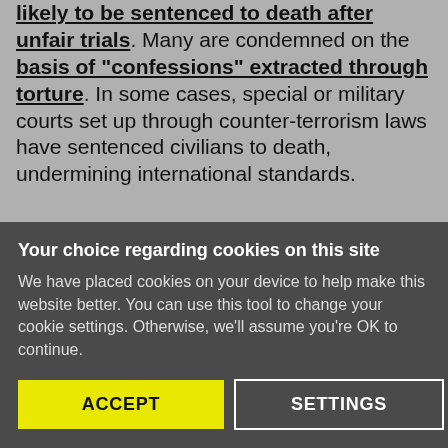likely to be sentenced to death after unfair trials. Many are condemned on the basis of "confessions" extracted through torture. In some cases, special or military courts set up through counter-terrorism laws have sentenced civilians to death, undermining international standards.
"[The death penalty] is a cheap way for politically inclined people to pretend to their
Your choice regarding cookies on this site
We have placed cookies on your device to help make this website better. You can use this tool to change your cookie settings. Otherwise, we'll assume you're OK to continue.